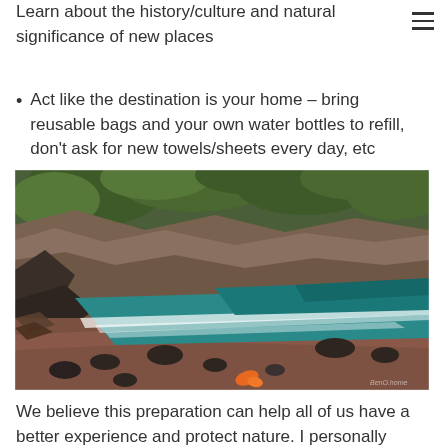Learn about the history/culture and natural significance of new places
Act like the destination is your home – bring reusable bags and your own water bottles to refill, don't ask for new towels/sheets every day, etc
[Figure (photo): A beach with dark red/brown sand and rocks, teal ocean waves lapping the shore, steep rocky cliffs with lush green vegetation in the background. An orange flower or leaf is visible on the sand in the foreground. A small watermark is visible in the bottom right corner.]
We believe this preparation can help all of us have a better experience and protect nature. I personally have found that we get a lot more out